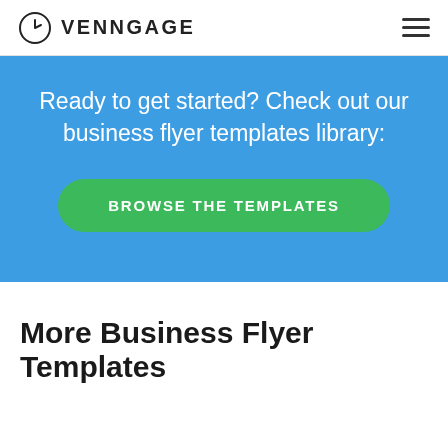VENNGAGE
Ready to get started? Check out our business flyer templates library:
BROWSE THE TEMPLATES
More Business Flyer Templates